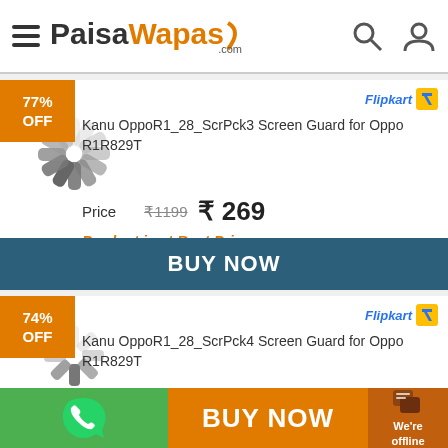PaisaWapas.com
77% OFF
Flipkart
Kanu OppoR1_28_ScrPck3 Screen Guard for Oppo R1R829T
Price ₹1199 ₹ 269
Product is at Best Price
BUY NOW
74% OFF
Flipkart
Kanu OppoR1_28_ScrPck4 Screen Guard for Oppo R1R829T
BUY NOW | We're offline